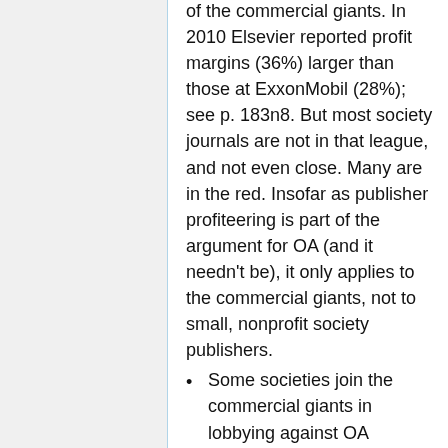of the commercial giants. In 2010 Elsevier reported profit margins (36%) larger than those at ExxonMobil (28%); see p. 183n8. But most society journals are not in that league, and not even close. Many are in the red. Insofar as publisher profiteering is part of the argument for OA (and it needn't be), it only applies to the commercial giants, not to small, nonprofit society publishers.
Some societies join the commercial giants in lobbying against OA policies, and argue that OA is intrinsically harmful to society publishers, or that OA harms small nonprofit publishers as such. I make many concessions to society